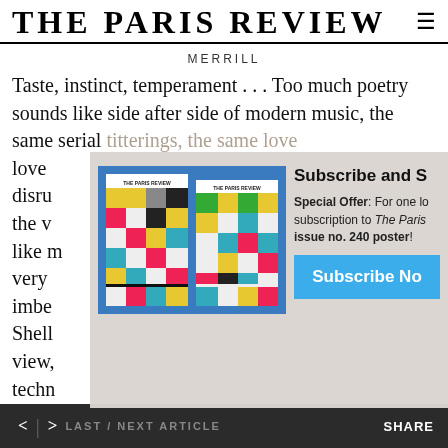THE PARIS REVIEW
MERRILL
Taste, instinct, temperament . . . Too much poetry sounds like side after side of modern music, the same serial titterings, the same loveless arrangements. I love music and I am glad to be disrupted by it. But the way it's used under films—like a bandage over the very scene it should imbue—drives me to tears. Shelley, from whatever point of view, has wonderful lyric technique. And nothing is better. But for a reader who can hardly be trusted to hear
[Figure (photo): Two issues of The Paris Review magazine displayed side by side against a blue background, showing colorful grid/Mondrian-style covers]
Subscribe and S
Special Offer: For one lo subscription to The Paris issue no. 240 poster!
Subscribe No
< > LAST / NEXT ARTICLE   SHARE